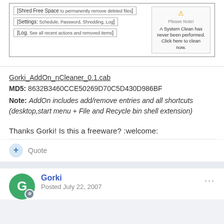[Figure (screenshot): Screenshot of nCleaner software UI showing Shred Free Space, Settings, and Log buttons, alongside a tooltip popup saying 'A System Clean has never been performed. Click here to clean now.']
Gorki_AddOn_nCleaner_0.1.cab
MD5: 8632B3460CCE50269D70C5D430D986BF
Note: AddOn includes add/remove entries and all shortcuts (desktop,start menu + File and Recycle bin shell extension)
Thanks Gorki! Is this a freeware? :welcome:
Quote
Gorki
Posted July 22, 2007